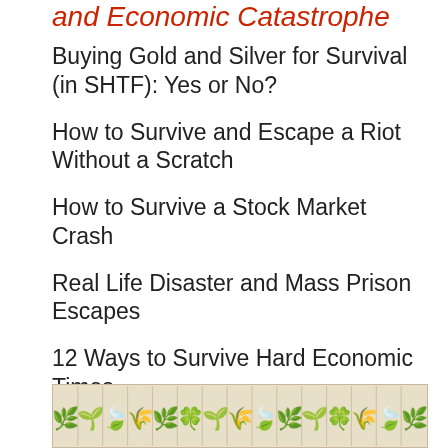and Economic Catastrophe
Buying Gold and Silver for Survival (in SHTF): Yes or No?
How to Survive and Escape a Riot Without a Scratch
How to Survive a Stock Market Crash
Real Life Disaster and Mass Prison Escapes
12 Ways to Survive Hard Economic Times
Economic Collapse Horror Stories
[Figure (illustration): A decorative horizontal strip showing botanical illustrations of various plants, herbs, and vegetables in a vintage style.]